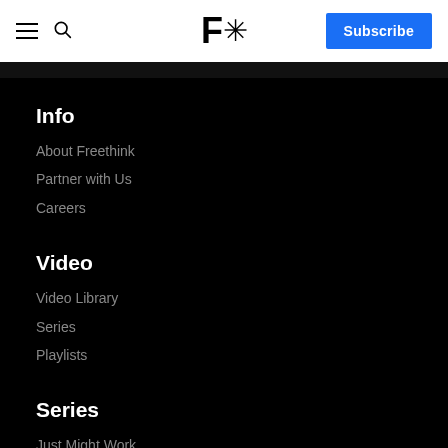F* Subscribe (navigation bar)
Info
About Freethink
Partner with Us
Careers
Video
Video Library
Series
Playlists
Series
Just Might Work